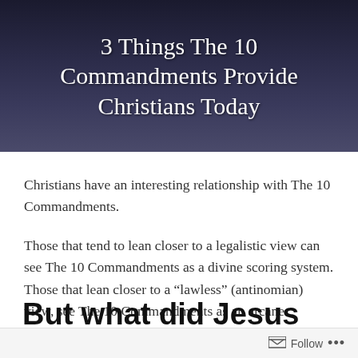3 Things The 10 Commandments Provide Christians Today
Christians have an interesting relationship with The 10 Commandments.
Those that tend to lean closer to a legalistic view can see The 10 Commandments as a divine scoring system. Those that lean closer to a “lawless” (antinomian) view, see The 10 Commandments as an arcane. obsolete moral code meant for a different time and a different people.
But what did Jesus have to say?
Follow ...